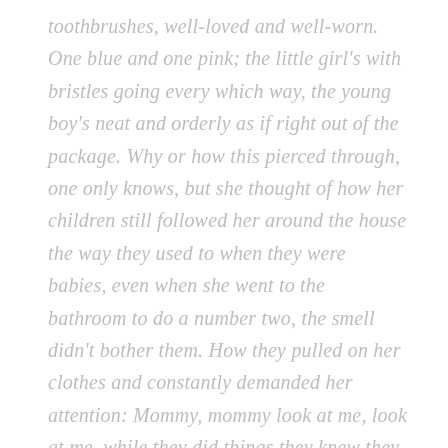toothbrushes, well-loved and well-worn. One blue and one pink; the little girl's with bristles going every which way, the young boy's neat and orderly as if right out of the package. Why or how this pierced through, one only knows, but she thought of how her children still followed her around the house the way they used to when they were babies, even when she went to the bathroom to do a number two, the smell didn't bother them. How they pulled on her clothes and constantly demanded her attention: Mommy, mommy look at me, look at me, while they did things they knew they shouldn't do, like stand on the couch or throw toys, their need for their mother's attention just that great even though mommy and was sure to snow. How they'd ask